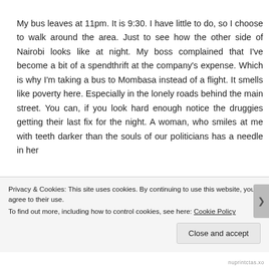My bus leaves at 11pm. It is 9:30. I have little to do, so I choose to walk around the area. Just to see how the other side of Nairobi looks like at night. My boss complained that I've become a bit of a spendthrift at the company's expense. Which is why I'm taking a bus to Mombasa instead of a flight. It smells like poverty here. Especially in the lonely roads behind the main street. You can, if you look hard enough notice the druggies getting their last fix for the night. A woman, who smiles at me with teeth darker than the souls of our politicians has a needle in her
Privacy & Cookies: This site uses cookies. By continuing to use this website, you agree to their use.
To find out more, including how to control cookies, see here: Cookie Policy
Close and accept
nuprintctas.xo